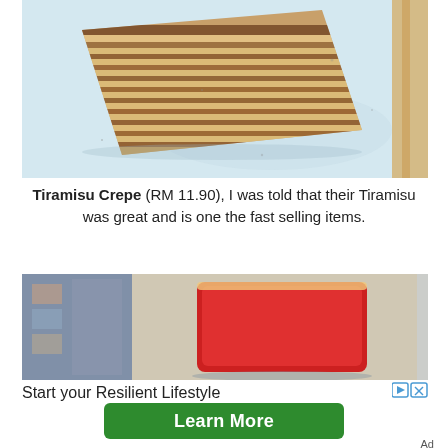[Figure (photo): Close-up photo of a layered Tiramisu Crepe on a white plate, showing many thin brown and cream-colored layers, viewed from the side at an angle.]
Tiramisu Crepe (RM 11.90), I was told that their Tiramisu was great and is one the fast selling items.
[Figure (photo): Advertisement photo showing a red pouch/wallet on a blurred background with shelves. Below the image: 'Start your Resilient Lifestyle' with ad control icons and a green 'Learn More' button.]
Start your Resilient Lifestyle
Learn More
Ad